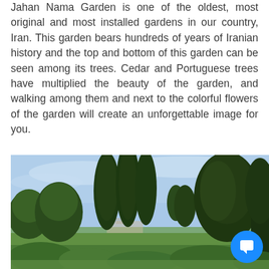Jahan Nama Garden is one of the oldest, most original and most installed gardens in our country, Iran. This garden bears hundreds of years of Iranian history and the top and bottom of this garden can be seen among its trees. Cedar and Portuguese trees have multiplied the beauty of the garden, and walking among them and next to the colorful flowers of the garden will create an unforgettable image for you.
[Figure (photo): Photograph of a garden with tall dark green cypress and rounded trees against a blue sky with light clouds. Green shrubs and trees visible in the foreground and background. A building or structure faintly visible in the distance.]